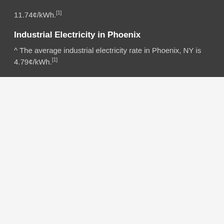11.74¢/kWh.[1]
Industrial Electricity in Phoenix
^ The average industrial electricity rate in Phoenix, NY is 4.79¢/kWh.[1]